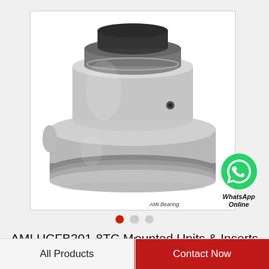[Figure (photo): Photograph of AMI UCFB201-8TC mounted unit bearing insert, showing a silver metallic cylindrical bearing with a set screw, displayed on white background inside a bordered box.]
AMI UCFB201-8TC Mounted Units & Inserts
All Products
Contact Now